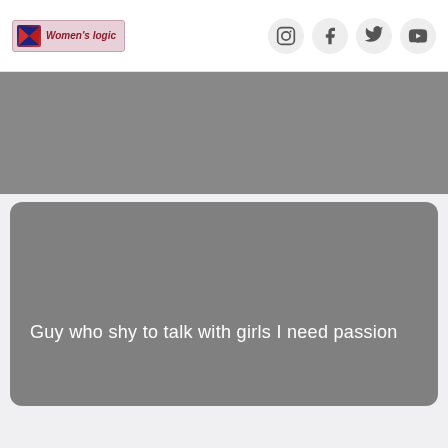Women's logic
[Figure (screenshot): Gray banner image placeholder at the top]
Guy who shy to talk with girls I need passion